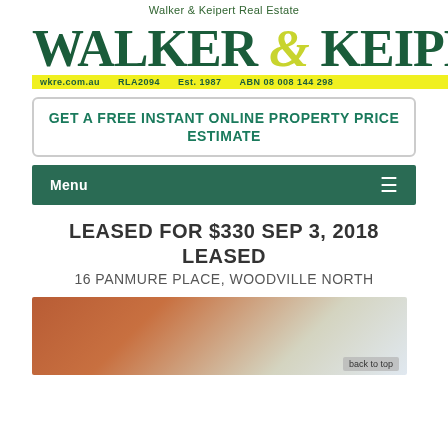Walker & Keipert Real Estate
[Figure (logo): Walker & Keipert real estate logo with large green serif text, yellow ampersand, and yellow tagbar showing wkre.com.au, RLA2094, Est. 1987, ABN 08 008 144 298]
GET A FREE INSTANT ONLINE PROPERTY PRICE ESTIMATE
Menu
LEASED FOR $330 SEP 3, 2018 LEASED
16 PANMURE PLACE, WOODVILLE NORTH
[Figure (photo): Exterior photo of brick property at 16 Panmure Place Woodville North]